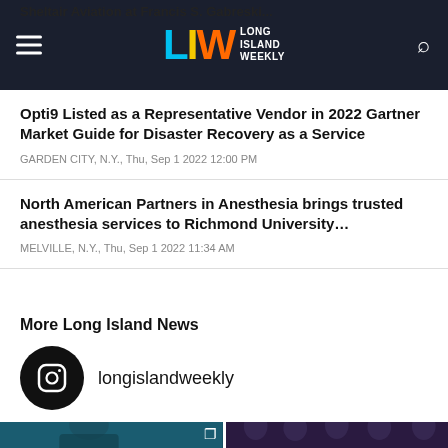Long Island Weekly
Sheltair Aviation at Francis S. Gabreski...
Opti9 Listed as a Representative Vendor in 2022 Gartner Market Guide for Disaster Recovery as a Service
GARDEN CITY, N.Y., Thu, Sep 1 2022 12:00 PM
North American Partners in Anesthesia brings trusted anesthesia services to Richmond University...
MELVILLE, N.Y., Thu, Sep 1 2022 11:34 AM
More Long Island News
longislandweekly
[Figure (photo): Photo of a man in medical scrubs with arms crossed, in front of a screen]
[Figure (photo): Photo of a band on stage with arms raised]